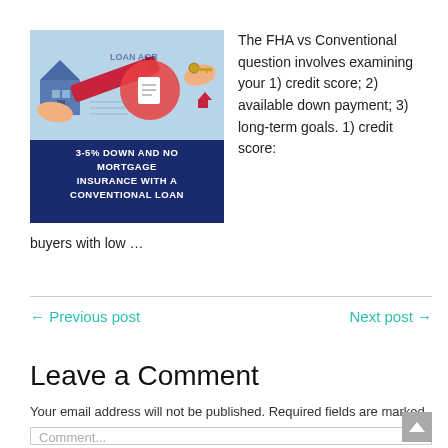[Figure (infographic): Infographic showing a conventional loan ad with illustrated hands holding house, key, and document icons against a blue/teal background. Text reads: '3-5% DOWN AND NO MORTGAGE INSURANCE WITH A CONVENTIONAL LOAN']
The FHA vs Conventional question involves examining your 1) credit score; 2) available down payment; 3) long-term goals. 1) credit score: buyers with low …
← Previous post
Next post →
Leave a Comment
Your email address will not be published. Required fields are marked *
Comment...